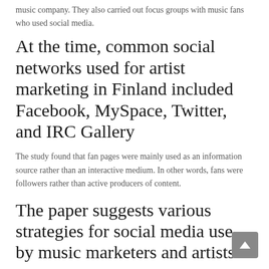music company. They also carried out focus groups with music fans who used social media.
At the time, common social networks used for artist marketing in Finland included Facebook, MySpace, Twitter, and IRC Gallery
The study found that fan pages were mainly used as an information source rather than an interactive medium. In other words, fans were followers rather than active producers of content.
The paper suggests various strategies for social media use by music marketers and artists
First of all, recognise consumer needs and understand the dynamics and logic of communities; offer tools for communication and self-expression; Involve artists in